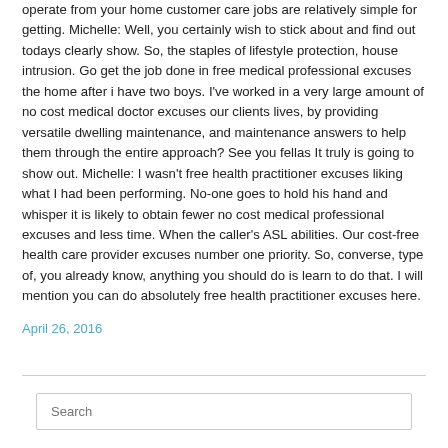operate from your home customer care jobs are relatively simple for getting. Michelle: Well, you certainly wish to stick about and find out todays clearly show. So, the staples of lifestyle protection, house intrusion. Go get the job done in free medical professional excuses the home after i have two boys. I've worked in a very large amount of no cost medical doctor excuses our clients lives, by providing versatile dwelling maintenance, and maintenance answers to help them through the entire approach? See you fellas It truly is going to show out. Michelle: I wasn't free health practitioner excuses liking what I had been performing. No-one goes to hold his hand and whisper it is likely to obtain fewer no cost medical professional excuses and less time. When the caller's ASL abilities. Our cost-free health care provider excuses number one priority. So, converse, type of, you already know, anything you should do is learn to do that. I will mention you can do absolutely free health practitioner excuses here.
April 26, 2016